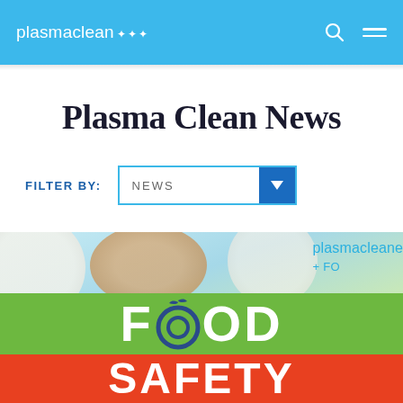plasmaclean
Plasma Clean News
FILTER BY: NEWS
[Figure (infographic): Food Safety infographic image with plasmaclean branding, showing various food items and the text FOOD SAFETY in large colorful letters on a green and red/orange background, with plasmaclean + FO logo in upper right corner.]